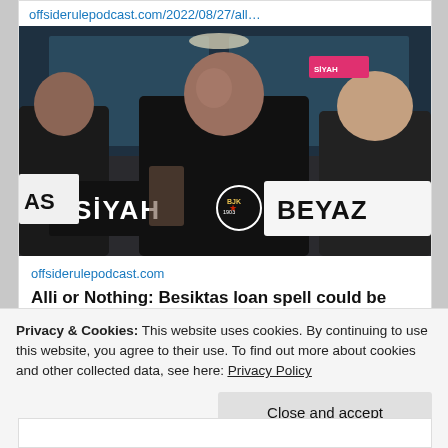offsiderulepodcast.com/2022/08/27/all…
[Figure (photo): Photo of a young footballer (Dele Alli) holding a Besiktas scarf reading 'SİYAH' and 'BEYAZ' with two other men, at what appears to be an airport or arrival event.]
offsiderulepodcast.com
Alli or Nothing: Besiktas loan spell could be last chance to reignite Everton midfielder's career
Privacy & Cookies: This website uses cookies. By continuing to use this website, you agree to their use. To find out more about cookies and other collected data, see here: Privacy Policy
Close and accept